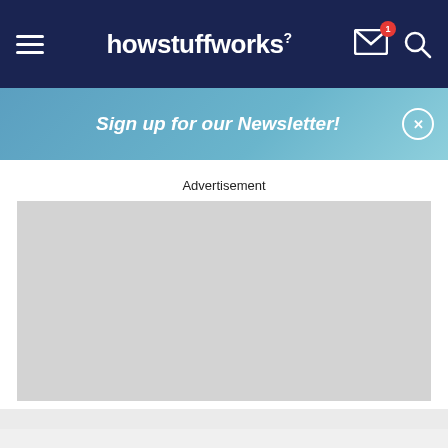howstuffworks
Sign up for our Newsletter!
Advertisement